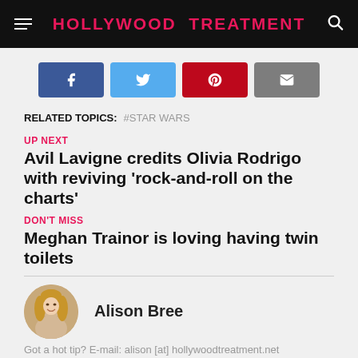HOLLYWOOD TREATMENT
[Figure (other): Social sharing buttons: Facebook (blue), Twitter (light blue), Pinterest (red), Email (grey)]
RELATED TOPICS: #STAR WARS
UP NEXT
Avil Lavigne credits Olivia Rodrigo with reviving 'rock-and-roll on the charts'
DON'T MISS
Meghan Trainor is loving having twin toilets
[Figure (photo): Author headshot of Alison Bree, a blonde woman, circular crop]
Alison Bree
Got a hot tip? E-mail: alison [at] hollywoodtreatment.net